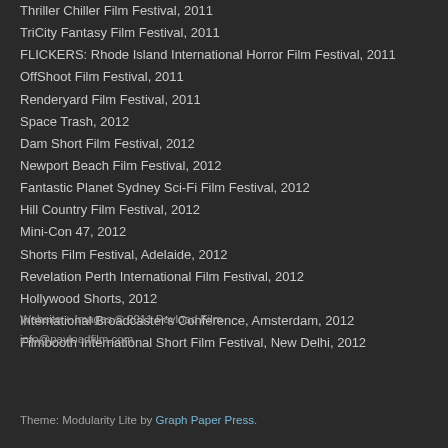Thriller Chiller Film Festival, 2011
TriCity Fantasy Film Festival, 2011
FLICKERS: Rhode Island International Horror Film Festival, 2011
OffShoot Film Festival, 2011
Renderyard Film Festival, 2011
Space Trash, 2012
Dam Short Film Festival, 2012
Newport Beach Film Festival, 2012
Fantastic Planet Sydney Sci-Fi Film Festival, 2012
Hill Country Film Festival, 2012
Mini-Con 47, 2012
Shorts Film Festival, Adelaide, 2012
Revelation Perth International Film Festival, 2012
Hollywood Shorts, 2012
International Broadcaster's Conference, Amsterdam, 2012
Filmbooth International Short Film Festival, New Delhi, 2012
Website + Images © 2011 Payload Film
info@payloadfilm.com
Theme: Modularity Lite by Graph Paper Press.